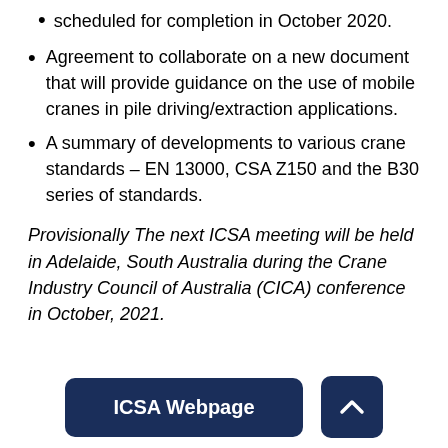scheduled for completion in October 2020.
Agreement to collaborate on a new document that will provide guidance on the use of mobile cranes in pile driving/extraction applications.
A summary of developments to various crane standards – EN 13000, CSA Z150 and the B30 series of standards.
Provisionally The next ICSA meeting will be held in Adelaide, South Australia during the Crane Industry Council of Australia (CICA) conference in October, 2021.
[Figure (other): ICSA Webpage button and scroll-to-top arrow button, both dark navy blue with rounded corners]